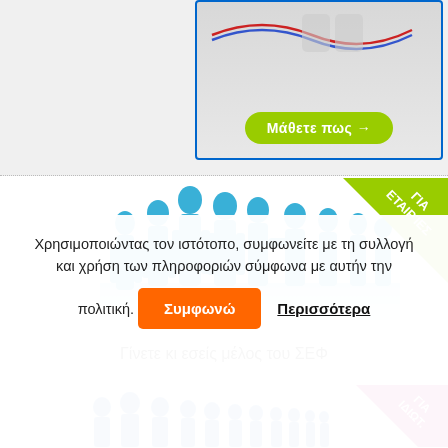[Figure (screenshot): Partial advertisement box with blue border, grey gradient background, red and blue curved lines at top, and a green pill-shaped button labeled 'Μάθετε πως →']
[Figure (illustration): Blue silhouette group of business people with a green triangle corner badge reading 'ΓΙΑ ΕΤΑΙΡΊΕΣ']
Γίνετε κι εσείς μέλος του ΣΕΦ
[Figure (illustration): Blue silhouette group of individuals with a pink/magenta triangle corner badge reading 'ΓΙΑ ΙΔΙΩΤ...' (partially visible)]
Χρησιμοποιώντας τον ιστότοπο, συμφωνείτε με τη συλλογή και χρήση των πληροφοριών σύμφωνα με αυτήν την πολιτική.
Συμφωνώ
Περισσότερα